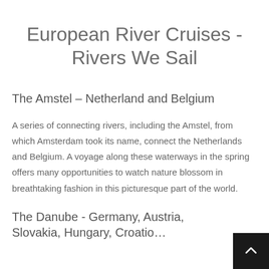European River Cruises - Rivers We Sail
The Amstel – Netherland and Belgium
A series of connecting rivers, including the Amstel, from which Amsterdam took its name, connect the Netherlands and Belgium. A voyage along these waterways in the spring offers many opportunities to watch nature blossom in breathtaking fashion in this picturesque part of the world.
The Danube - Germany, Austria, Slovakia, Hungary, Croatia